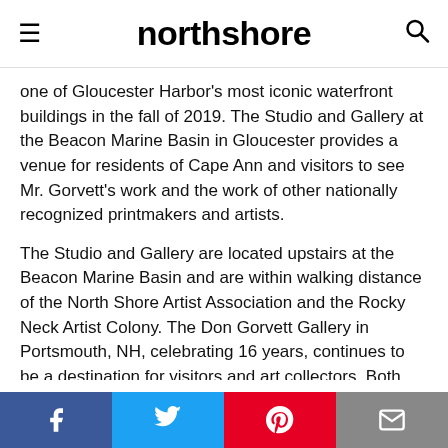northshore
one of Gloucester Harbor's most iconic waterfront buildings in the fall of 2019. The Studio and Gallery at the Beacon Marine Basin in Gloucester provides a venue for residents of Cape Ann and visitors to see Mr. Gorvett's work and the work of other nationally recognized printmakers and artists.
The Studio and Gallery are located upstairs at the Beacon Marine Basin and are within walking distance of the North Shore Artist Association and the Rocky Neck Artist Colony. The Don Gorvett Gallery in Portsmouth, NH, celebrating 16 years, continues to be a destination for visitors and art collectors. Both locations exhibit the work of other nationally-known artists and printmakers in addition to Don Gorvett and are open year-round. Don Gorvett was born in Boston, Massachusetts, in 1949 and raised within the environs of Cambridge and Somerville, MA. Much of his youth was spent at the seashore swimming, fishing, and observing the fishing-town industry. After graduating from the School of the Museum of Fine Arts in 1973, Mr. Gorvett moved to Gloucester
Facebook | Twitter | Pinterest | Email